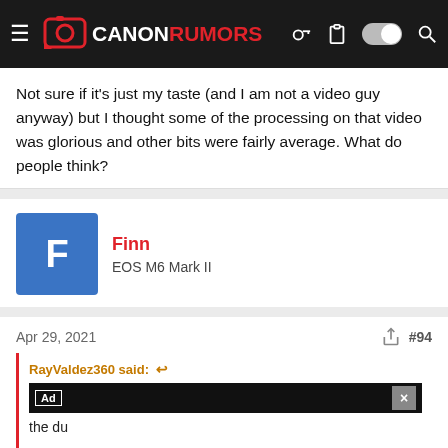Canon Rumors
Not sure if it's just my taste (and I am not a video guy anyway) but I thought some of the processing on that video was glorious and other bits were fairly average. What do people think?
Finn
EOS M6 Mark II
Apr 29, 2021
#94
RayValdez360 said:
the du
[Figure (screenshot): Advertisement overlay: King Bed For A Queen Price Now - Mattress Firm Potomac Run Plaza]
Advertisement